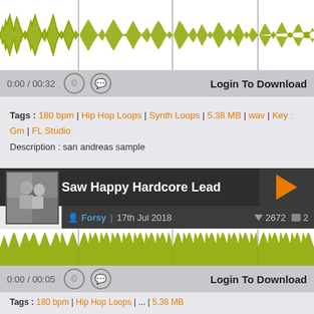[Figure (continuous-plot): Audio waveform visualization in olive/yellow-green color on white background, showing audio amplitude over time with 3 vertical marker lines]
0:00 / 00:32    Login To Download
Tags : 180 bpm | Hip Hop Loops | Synth Loops | 5.38 MB | wav | Key : Gm | FL Studio
Description : san andreas sample
Saw Happy Hardcore Lead
Forsy  |  17th Jul 2018     ▼ 2672  |  ▪ 2
[Figure (continuous-plot): Dense audio waveform visualization in olive/yellow-green color on white background with 3 vertical marker lines, representing Saw Happy Hardcore Lead audio]
0:00 / 00:05    Login To Download
Tags : 180 bpm | ...